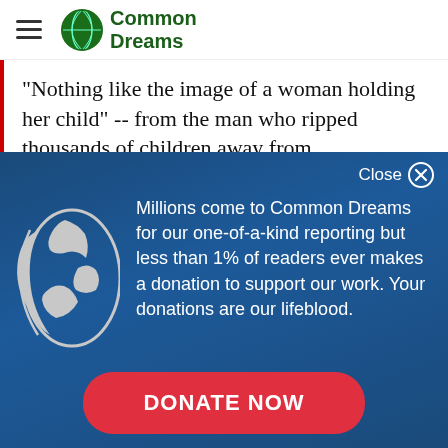Common Dreams
"Nothing like the image of a woman holding her child" -- from the man who ripped thousands of children away from
[Figure (other): Common Dreams donation overlay with globe icon, text about donations, and a Donate Now button]
Millions come to Common Dreams for our one-of-a-kind reporting but less than 1% of readers ever makes a donation to support our work. Your donations are our lifeblood.
DONATE NOW